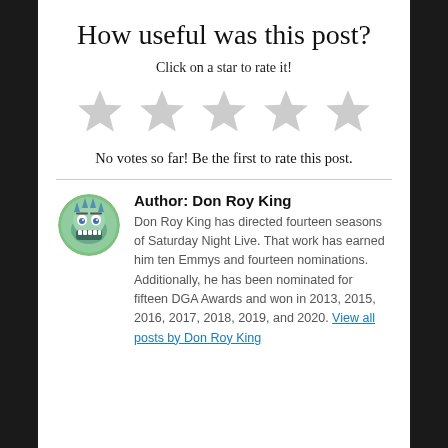How useful was this post?
Click on a star to rate it!
[Figure (illustration): Five empty/grey star rating icons arranged in a row]
No votes so far! Be the first to rate this post.
Author: Don Roy King
Don Roy King has directed fourteen seasons of Saturday Night Live. That work has earned him ten Emmys and fourteen nominations. Additionally, he has been nominated for fifteen DGA Awards and won in 2013, 2015, 2016, 2017, 2018, 2019, and 2020. View all posts by Don Roy King